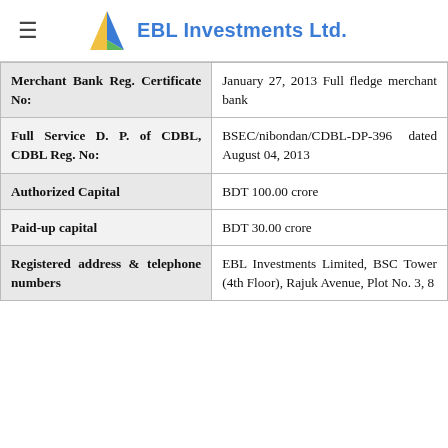EBL Investments Ltd.
| Field | Value |
| --- | --- |
| Merchant Bank Reg. Certificate No: | January 27, 2013 Full fledge merchant bank |
| Full Service D. P. of CDBL, CDBL Reg. No: | BSEC/nibondan/CDBL-DP-396 dated August 04, 2013 |
| Authorized Capital | BDT 100.00 crore |
| Paid-up capital | BDT 30.00 crore |
| Registered address & telephone numbers | EBL Investments Limited, BSC Tower (4th Floor), Rajuk Avenue, Plot No. 3, 8... |